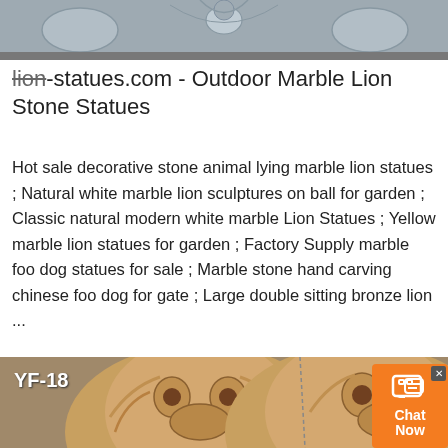[Figure (photo): Top portion of a decorative stone/marble carved panel with ornate floral and geometric relief patterns in gray stone.]
lion-statues.com - Outdoor Marble Lion Stone Statues
Hot sale decorative stone animal lying marble lion statues ; Natural white marble lion sculptures on ball for garden ; Classic natural modern white marble Lion Statues ; Yellow marble lion statues for garden ; Factory Supply marble foo dog statues for sale ; Marble stone hand carving chinese foo dog for gate ; Large double sitting bronze lion ...
[Figure (photo): Two large carved marble/stone foo dog (Chinese guardian lion) statues shown from shoulders up, with label YF-18 in upper left. An orange chat widget with 'Chat Now' text and speech bubble icon is overlaid in the bottom right corner.]